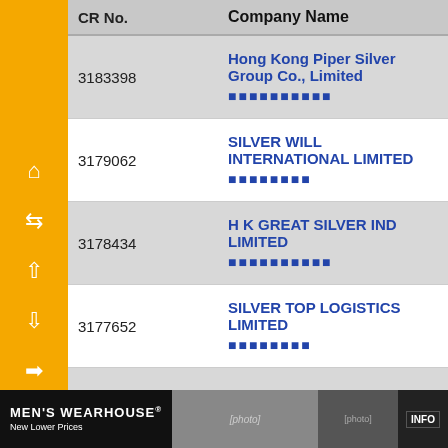| CR No. | Company Name |
| --- | --- |
| 3183398 | Hong Kong Piper Silver Group Co., Limited / 香港派柏白銀集團有限公司 |
| 3179062 | SILVER WILL INTERNATIONAL LIMITED / 銀威國際有限公司 |
| 3178434 | H K GREAT SILVER IND LIMITED / 香港大銀工業有限公司 |
| 3177652 | SILVER TOP LOGISTICS LIMITED / 銀頂物流有限公司 |
| 3177501 | I9 Silver Studio Limited / 銀九工作室有限公司 |
| 3176197 | SILVER STAR GROUPS COMPANY LIMITED |